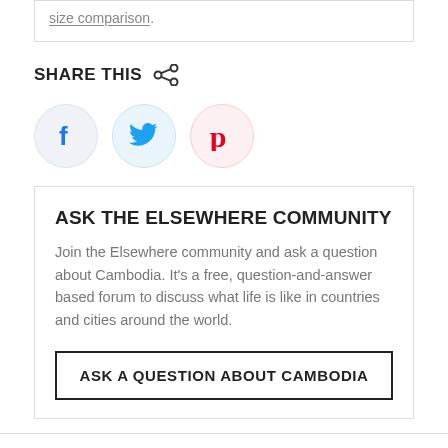size comparison.
SHARE THIS
[Figure (other): Social share buttons: Facebook, Twitter, Pinterest circular icons]
ASK THE ELSEWHERE COMMUNITY
Join the Elsewhere community and ask a question about Cambodia. It's a free, question-and-answer based forum to discuss what life is like in countries and cities around the world.
ASK A QUESTION ABOUT CAMBODIA